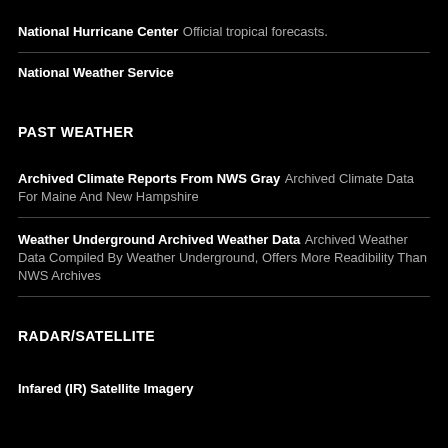National Hurricane Center Official tropical forecasts.
National Weather Service
PAST WEATHER
Archived Climate Reports From NWS Gray Archived Climate Data For Maine And New Hampshire
Weather Underground Archived Weather Data Archived Weather Data Compiled By Weather Underground, Offers More Readibility Than NWS Archives
RADAR/SATELLITE
Infared (IR) Satellite Imagery